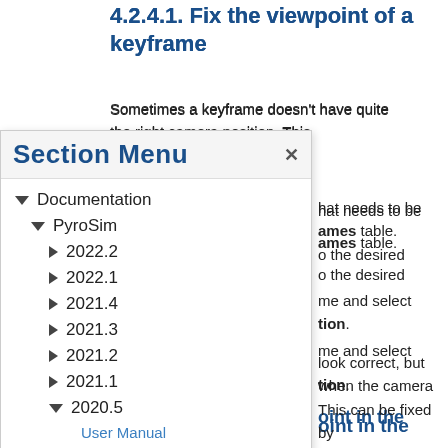4.2.4.1. Fix the viewpoint of a keyframe
Sometimes a keyframe doesn't have quite the right camera position. This allows the following:
that needs to be
ames table.
o the desired
me and select
tion.
oint in the
look correct, but when the camera This can be fixed by
[Figure (screenshot): Section Menu navigation overlay showing a documentation tree with PyroSim versions. Items include: Documentation (expanded), PyroSim (expanded), 2022.2, 2022.1, 2021.4, 2021.3, 2021.2, 2021.1, 2020.5 (expanded with User Manual and Results User Manual links), 2020.4.]